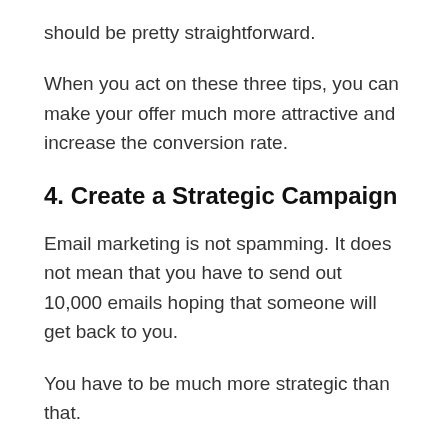should be pretty straightforward.
When you act on these three tips, you can make your offer much more attractive and increase the conversion rate.
4. Create a Strategic Campaign
Email marketing is not spamming. It does not mean that you have to send out 10,000 emails hoping that someone will get back to you.
You have to be much more strategic than that.
There are a few tips that will help you create